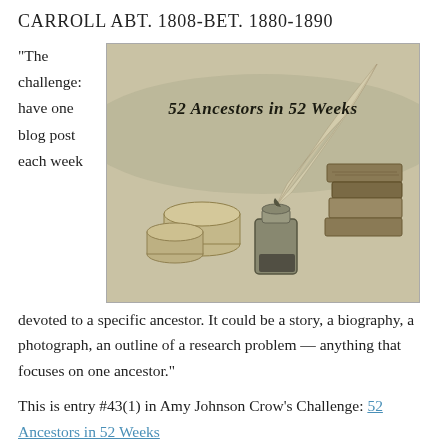CARROLL ABT. 1808-BET. 1880-1890
“The challenge: have one blog post each week devoted to a specific ancestor. It could be a story, a biography, a photograph, an outline of a research problem — anything that focuses on one ancestor.”
[Figure (illustration): Vintage illustration of quill pen in inkwell with scrolls and stacked books, titled '52 Ancestors in 52 Weeks' in cursive script]
This is entry #43(1) in Amy Johnson Crow’s Challenge: 52 Ancestors in 52 Weeks